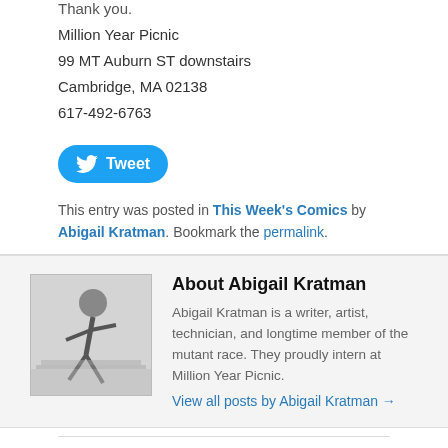Thank you.
Million Year Picnic
99 MT Auburn ST downstairs
Cambridge, MA 02138
617-492-6763
[Figure (other): Twitter Tweet button (blue rounded rectangle with Twitter bird icon and 'Tweet' text)]
This entry was posted in This Week's Comics by Abigail Kratman. Bookmark the permalink.
[Figure (photo): Small square author photo showing a figure in action, black and white illustration style]
About Abigail Kratman
Abigail Kratman is a writer, artist, technician, and longtime member of the mutant race. They proudly intern at Million Year Picnic.
View all posts by Abigail Kratman →
[Figure (other): Twitter Follow @myp_comics button (blue rounded rectangle with Twitter bird icon)]